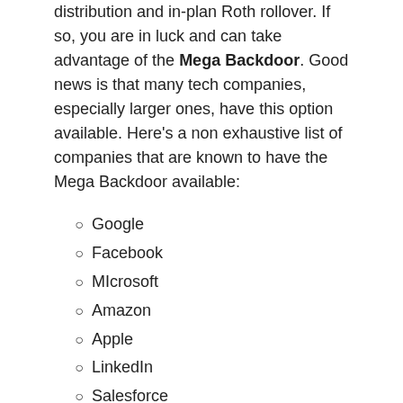distribution and in-plan Roth rollover. If so, you are in luck and can take advantage of the Mega Backdoor. Good news is that many tech companies, especially larger ones, have this option available. Here's a non exhaustive list of companies that are known to have the Mega Backdoor available:
Google
Facebook
MIcrosoft
Amazon
Apple
LinkedIn
Salesforce
Netflix
Intel
With the Mega Backdoor, you contribute after-tax dollars